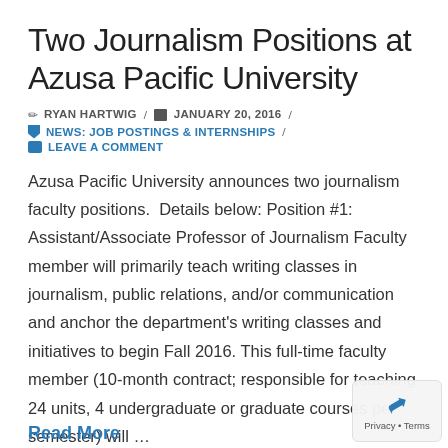Two Journalism Positions at Azusa Pacific University
✏ RYAN HARTWIG / 📅 JANUARY 20, 2016 /
🔖 NEWS: JOB POSTINGS & INTERNSHIPS /
💬 LEAVE A COMMENT
Azusa Pacific University announces two journalism faculty positions.  Details below: Position #1: Assistant/Associate Professor of Journalism Faculty member will primarily teach writing classes in journalism, public relations, and/or communication and anchor the department's writing classes and initiatives to begin Fall 2016. This full-time faculty member (10-month contract; responsible for teaching 24 units, 4 undergraduate or graduate courses per semester) will …
Read More